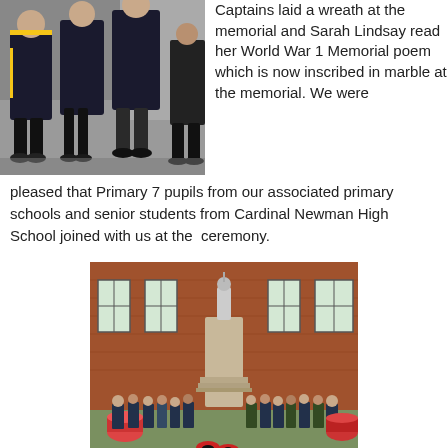[Figure (photo): Students in school uniforms walking together, dark blazers with yellow trim visible.]
Captains laid a wreath at the memorial and Sarah Lindsay read her World War 1 Memorial poem which is now inscribed in marble at the memorial. We were pleased that Primary 7 pupils from our associated primary schools and senior students from Cardinal Newman High School joined with us at the ceremony.
[Figure (photo): Group of students and pupils with drums gathered around a war memorial statue in front of a red brick building, with poppy wreaths at the base.]